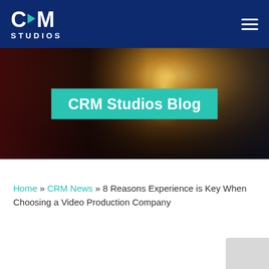CRM Studios
[Figure (photo): Dark background photo of a hanging Edison-style light bulb with warm glowing filament, with a teal banner overlay reading 'CRM Studios Blog']
CRM Studios Blog
Home » CRM News » 8 Reasons Experience is Key When Choosing a Video Production Company